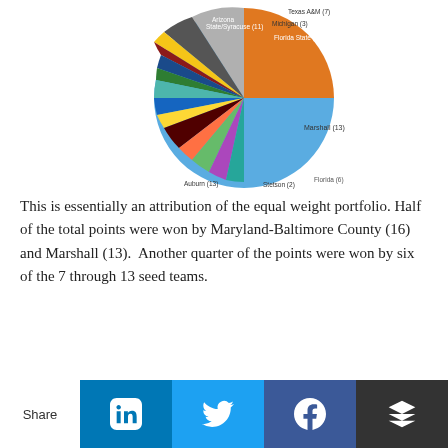[Figure (pie-chart): Pie chart showing equal-weight portfolio point attribution by team. Maryland-Baltimore County (16) is the largest slice (~50%), Marshall (13) is a large orange slice (~25%), followed by smaller slices for Kansas State (8), Louisville (11), Auburn (13), Florida State (9), Arizona State/Syracuse (11), Florida (6), Michigan (3), Texas A&M (7), and many other teams.]
This is essentially an attribution of the equal weight portfolio. Half of the total points were won by Maryland-Baltimore County (16) and Marshall (13).  Another quarter of the points were won by six of the 7 through 13 seed teams.